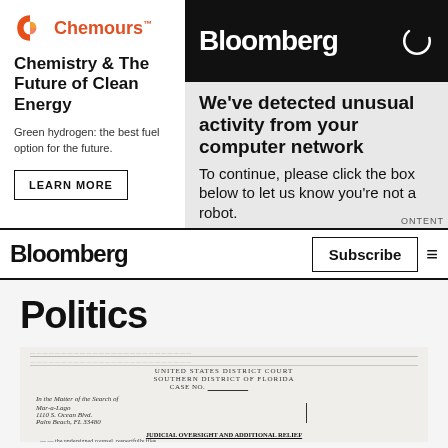[Figure (logo): Chemours logo with orange/red stylized C and brand name]
Chemistry & The Future of Clean Energy
Green hydrogen: the best fuel option for the future.
LEARN MORE
[Figure (screenshot): Bloomberg bot detection overlay with Bloomberg header, loading spinner, and 'We've detected unusual activity from your computer network. To continue, please click the box below to let us know you're not a robot.' message]
Bloomberg  Subscribe
Politics
[Figure (photo): Partial view of legal document from United States District Court, Southern District of Florida, showing case number, Mar-a-Lago address, and partial heading about Judicial Oversight and Additional Relief]